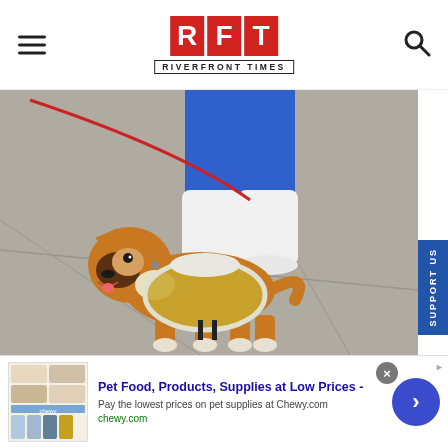[Figure (logo): RFT Riverfront Times logo with red background letter blocks and subtitle text]
[Figure (photo): A corgi dog wearing a golden/white costume being walked by a person in blue spandex and white boots]
[Figure (screenshot): Chewy.com advertisement banner: Pet Food, Products, Supplies at Low Prices - Pay the lowest prices on pet supplies at Chewy.com, chewy.com]